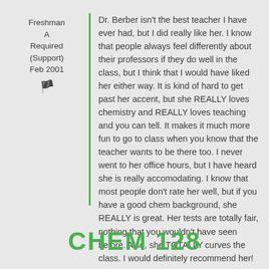Freshman
A
Required
(Support)
Feb 2001
Dr. Berber isn't the best teacher I have ever had, but I did really like her. I know that people always feel differently about their professors if they do well in the class, but I think that I would have liked her either way. It is kind of hard to get past her accent, but she REALLY loves chemistry and REALLY loves teaching and you can tell. It makes it much more fun to go to class when you know that the teacher wants to be there too. I never went to her office hours, but I have heard she is really accomodating. I know that most people don't rate her well, but if you have a good chem background, she REALLY is great. Her tests are totally fair, nothing that you wouldn't have seen before. Also, she TOTALLY curves the class. I would definitely recommend her!
CHEM 128